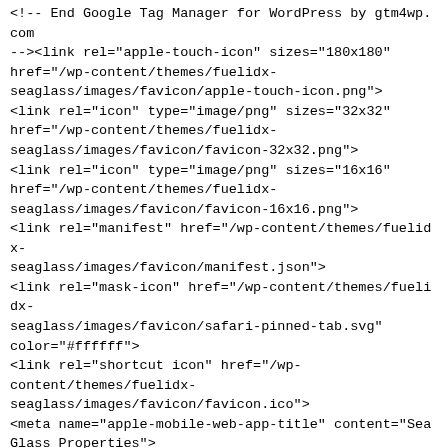<!-- End Google Tag Manager for WordPress by gtm4wp.com --><link rel="apple-touch-icon" sizes="180x180" href="/wp-content/themes/fuelidx-seaglass/images/favicon/apple-touch-icon.png">
<link rel="icon" type="image/png" sizes="32x32" href="/wp-content/themes/fuelidx-seaglass/images/favicon/favicon-32x32.png">
<link rel="icon" type="image/png" sizes="16x16" href="/wp-content/themes/fuelidx-seaglass/images/favicon/favicon-16x16.png">
<link rel="manifest" href="/wp-content/themes/fuelidx-seaglass/images/favicon/manifest.json">
<link rel="mask-icon" href="/wp-content/themes/fuelidx-seaglass/images/favicon/safari-pinned-tab.svg" color="#ffffff">
<link rel="shortcut icon" href="/wp-content/themes/fuelidx-seaglass/images/favicon/favicon.ico">
<meta name="apple-mobile-web-app-title" content="Sea Glass Properties">
<meta name="application-name" content="Sea Glass Properties">
<meta name="msapplication-config" content="/wp-content/themes/fuelidx-seaglass/images/favicon/browserconfig.xml">
<meta name="theme-color" content="#ffffff">

    <!-- This is for Google ads and needs to stay in - JJB 12/26/19 -->
    <!-- Global site tag (gtag.js) - Google Ads: